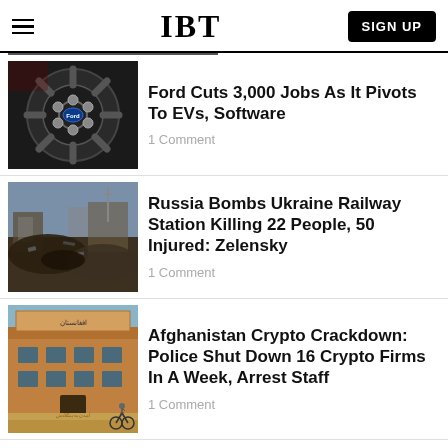IBT
[Figure (photo): Ford car wheel/hubcap close-up in dark tones]
Ford Cuts 3,000 Jobs As It Pivots To EVs, Software
1 Comment
[Figure (photo): Bombed-out rubble of a Ukrainian railway station]
Russia Bombs Ukraine Railway Station Killing 22 People, 50 Injured: Zelensky
1 Comment
[Figure (photo): Afghan building with Arabic signage, person on bicycle in foreground]
Afghanistan Crypto Crackdown: Police Shut Down 16 Crypto Firms In A Week, Arrest Staff
1 Comment